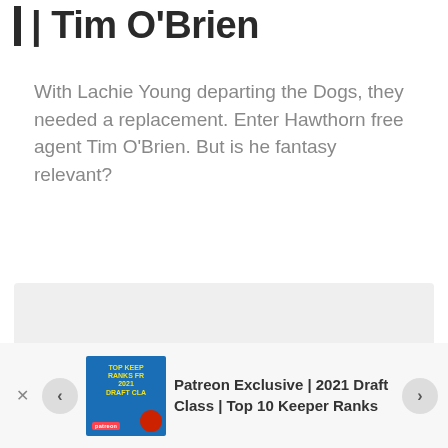| Tim O'Brien
With Lachie Young departing the Dogs, they needed a replacement. Enter Hawthorn free agent Tim O'Brien. But is he fantasy relevant?
[Figure (other): Gray placeholder box]
Patreon Exclusive | 2021 Draft Class | Top 10 Keeper Ranks